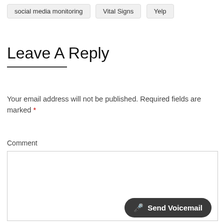social media monitoring   Vital Signs   Yelp
Leave A Reply
Your email address will not be published. Required fields are marked *
Comment
[Figure (screenshot): Comment text area input box]
Send Voicemail